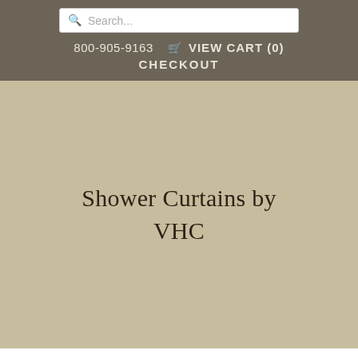Search... | 800-905-9163 | VIEW CART (0) | CHECKOUT
Shower Curtains by VHC